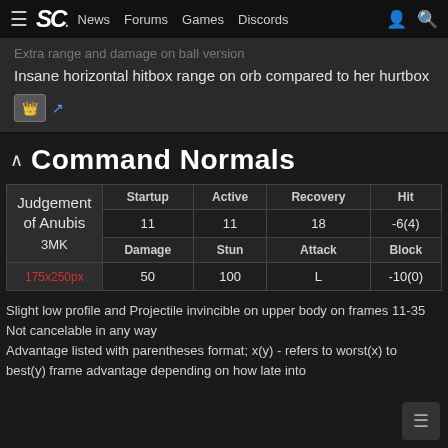SC. News Forums Games Discords
Extra range and damage on ball version
Insane horizontal hitbox range on orb compared to her hurtbox
Command Normals
|  | Startup | Active | Recovery | Hit |
| --- | --- | --- | --- | --- |
| Judgement of Anubis 3MK | 11 | 11 | 18 | -6(4) |
|  | Damage | Stun | Attack | Block |
|  | 50 | 100 | L | -10(0) |
175x250px
Slight low profile and Projectile invincible on upper body on frames 11-35
Not cancelable in any way
Advantage listed with parentheses format; x(y) - refers to worst(x) to best(y) frame advantage depending on how late into